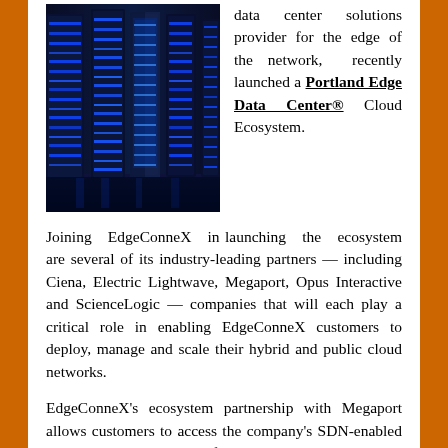[Figure (photo): Photo of data center server racks with blue LED lighting illuminating rows of tall black server cabinets]
data center solutions provider for the edge of the network, recently launched a Portland Edge Data Center® Cloud Ecosystem.
Joining EdgeConneX in launching the ecosystem are several of its industry-leading partners — including Ciena, Electric Lightwave, Megaport, Opus Interactive and ScienceLogic — companies that will each play a critical role in enabling EdgeConneX customers to deploy, manage and scale their hybrid and public cloud networks.
EdgeConneX's ecosystem partnership with Megaport allows customers to access the company's SDN-enabled elastic interconnection fabric that enables direct, seamless connectivity to AWS, Microsoft Azure